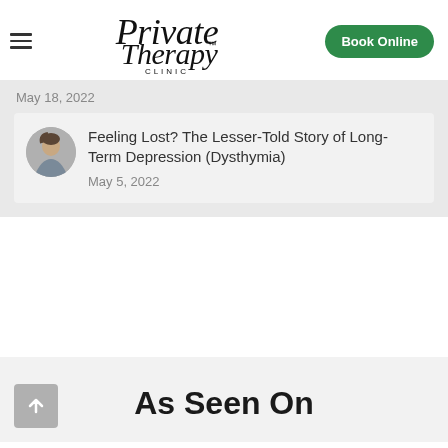[Figure (logo): Private Therapy Clinic logo with hamburger menu and Book Online button]
May 18, 2022
[Figure (photo): Circular avatar photo of a person looking downward]
Feeling Lost? The Lesser-Told Story of Long-Term Depression (Dysthymia)
May 5, 2022
As Seen On